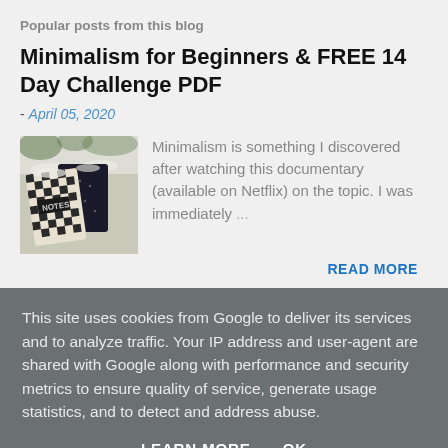Popular posts from this blog
Minimalism for Beginners & FREE 14 Day Challenge PDF
- April 05, 2020
[Figure (photo): Two notebooks (one patterned, one dark) labeled NOTES, partially covered in snow]
Minimalism is something I discovered after watching this documentary (available on Netflix) on the topic. I was immediately ...
READ MORE
This site uses cookies from Google to deliver its services and to analyze traffic. Your IP address and user-agent are shared with Google along with performance and security metrics to ensure quality of service, generate usage statistics, and to detect and address abuse.
LEARN MORE   OK